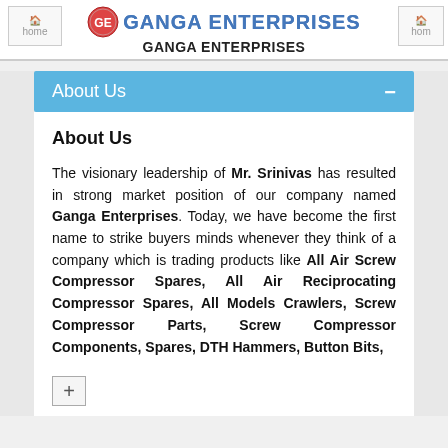GANGA ENTERPRISES
About Us
About Us
The visionary leadership of Mr. Srinivas has resulted in strong market position of our company named Ganga Enterprises. Today, we have become the first name to strike buyers minds whenever they think of a company which is trading products like All Air Screw Compressor Spares, All Air Reciprocating Compressor Spares, All Models Crawlers, Screw Compressor Parts, Screw Compressor Components, Spares, DTH Hammers, Button Bits,